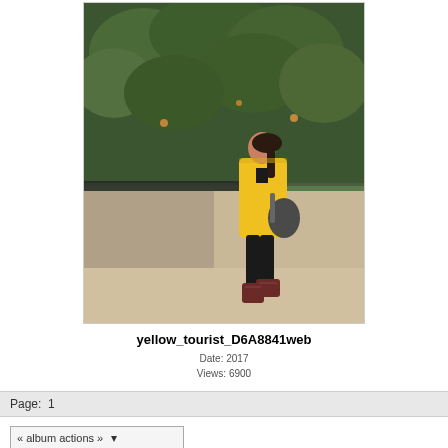[Figure (photo): A woman wearing a yellow jacket, black pants, and dark red boots, carrying a black bag, walking in an outdoor plaza with a large green tree/hedge in the background]
yellow_tourist_D6A8841web
Date: 2017
Views: 6900
Page: 1
« album actions »
[Figure (logo): Gallery 2 logo with small thumbnail image and text GALLERY 2]